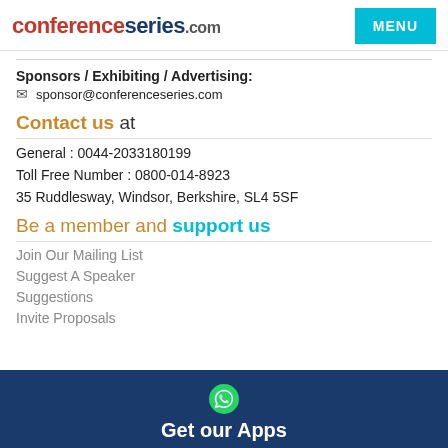conferenceseries.com | MENU
Sponsors / Exhibiting / Advertising:
sponsor@conferenceseries.com
Contact us at
General : 0044-2033180199
Toll Free Number : 0800-014-8923
35 Ruddlesway, Windsor, Berkshire, SL4 5SF
Be a member and support us
Join Our Mailing List
Suggest A Speaker
Suggestions
Invite Proposals
Get our Apps